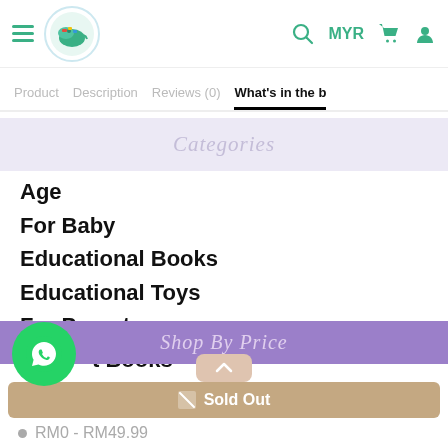Navigation header with hamburger menu, logo, search, MYR, cart, user icons
Product   Description   Reviews (0)   What's in the b
Categories
Age
For Baby
Educational Books
Educational Toys
For Parents
t Books
Shop By Price
Sold Out
RM0 - RM49.99